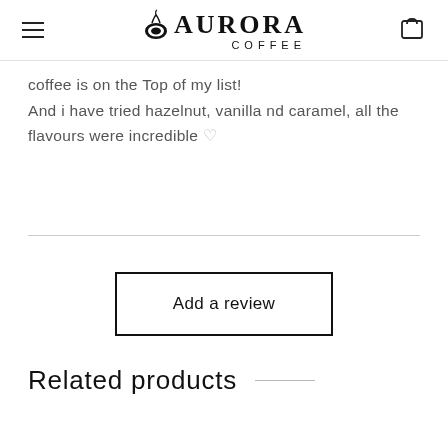AURORA COFFEE
coffee is on the Top of my list!
And i have tried hazelnut, vanilla nd caramel, all the flavours were incredible 🤍
Add a review
Related products